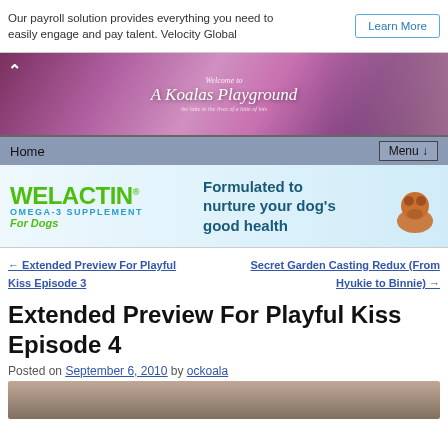Our payroll solution provides everything you need to easily engage and pay talent. Velocity Global
Learn More
[Figure (illustration): A Koalas Playground blog header banner with pink/purple bokeh background and asian drama characters]
Home   Menu ↓
[Figure (illustration): Welactin Omega-3 Supplement for Dogs advertisement banner. Text: WELACTIN® OMEGA-3 SUPPLEMENT For Dogs. Formulated to nurture your dog's good health. Image of a dog on the right.]
← Extended Preview For Playful Kiss Episode 3
Secret Garden Casting Redux (From Hyukie to Binnie) →
Extended Preview For Playful Kiss Episode 4
Posted on September 6, 2010 by ockoala
[Figure (photo): Partial photo of a person, visible at the bottom of the page]